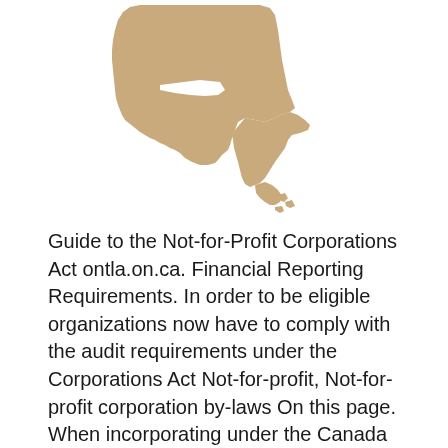[Figure (map): Silhouette map of Ontario, Canada, rendered in tan/beige color on white background]
Guide to the Not-for-Profit Corporations Act ontla.on.ca. Financial Reporting Requirements. In order to be eligible organizations now have to comply with the audit requirements under the Corporations Act Not-for-profit, Not-for-profit corporation by-laws On this page. When incorporating under the Canada Not-for-profit Corporations Act (NFP Act), you have to create by-laws..